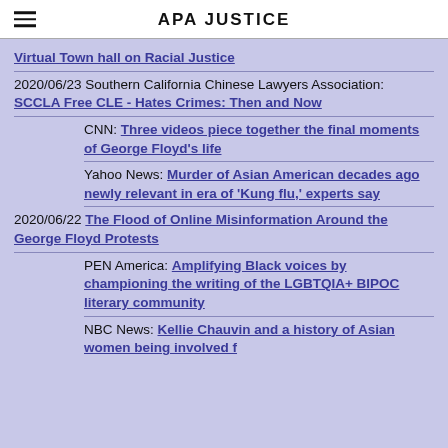APA JUSTICE
Virtual Town hall on Racial Justice
2020/06/23 Southern California Chinese Lawyers Association: SCCLA Free CLE - Hates Crimes: Then and Now
CNN: Three videos piece together the final moments of George Floyd's life
Yahoo News: Murder of Asian American decades ago newly relevant in era of 'Kung flu,' experts say
2020/06/22 The Flood of Online Misinformation Around the George Floyd Protests
PEN America: Amplifying Black voices by championing the writing of the LGBTQIA+ BIPOC literary community
NBC News: Kellie Chauvin and a history of Asian women being involved f...